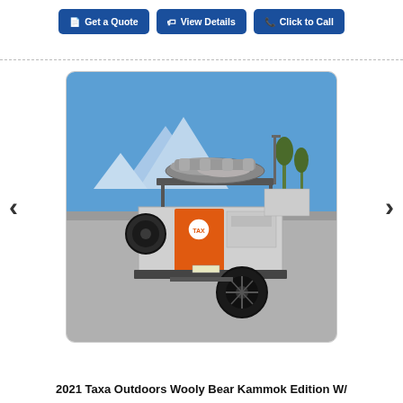Get a Quote | View Details | Click to Call
[Figure (photo): Rear view of a 2021 Taxa Outdoors Wooly Bear Kammok Edition camping trailer with rooftop tent and orange accent panel, parked in a lot with mountains and blue sky in the background.]
2021 Taxa Outdoors Wooly Bear Kammok Edition W/